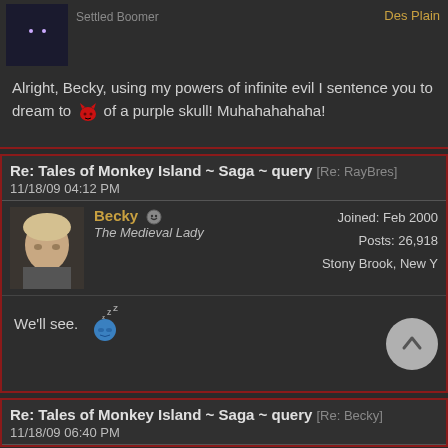Settled Boomer
Des Plain
Alright, Becky, using my powers of infinite evil I sentence you to dream to of a purple skull! Muhahahahaha!
Re: Tales of Monkey Island ~ Saga ~ query [Re: RayBres]
11/18/09 04:12 PM
Becky
The Medieval Lady
Joined: Feb 2000
Posts: 26,918
Stony Brook, New Y
We'll see.
Re: Tales of Monkey Island ~ Saga ~ query [Re: Becky]
11/18/09 06:40 PM